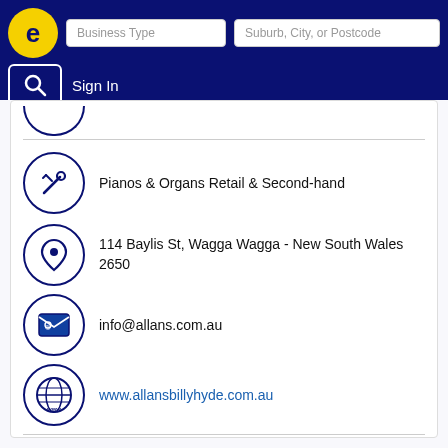Business Type | Suburb, City, or Postcode | Sign In
Pianos & Organs Retail & Second-hand
114 Baylis St, Wagga Wagga - New South Wales 2650
info@allans.com.au
www.allansbillyhyde.com.au
↳ More results nearby or related categories
Pianos Wagga Wagga NSW